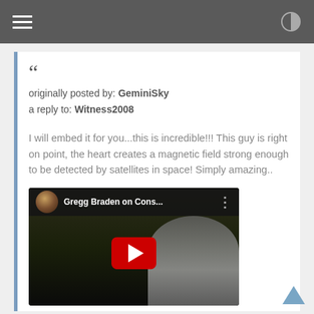originally posted by: GeminiSky
a reply to: Witness2008

I will embed it for you...this is incredible!!! This guy is right on point, the heart creates a magnetic field strong enough to be detected by satellites in space! Simply amazing..
[Figure (screenshot): YouTube video thumbnail showing 'Gregg Braden on Cons...' with a YouTube play button overlay and a person visible in the video frame.]